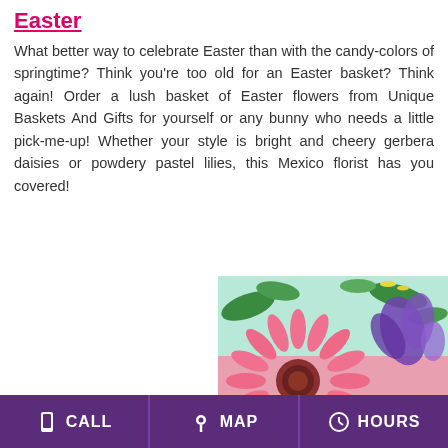Easter
What better way to celebrate Easter than with the candy-colors of springtime? Think you're too old for an Easter basket? Think again! Order a lush basket of Easter flowers from Unique Baskets And Gifts for yourself or any bunny who needs a little pick-me-up! Whether your style is bright and cheery gerbera daisies or powdery pastel lilies, this Mexico florist has you covered!
[Figure (photo): Colorful floral arrangement with pink gerbera daisies, purple irises, and other spring flowers. Overlay text reads: DESIGNER'S CHOICE ADMINISTRATIVE PROFESSIONALS DAY]
CALL  MAP  HOURS